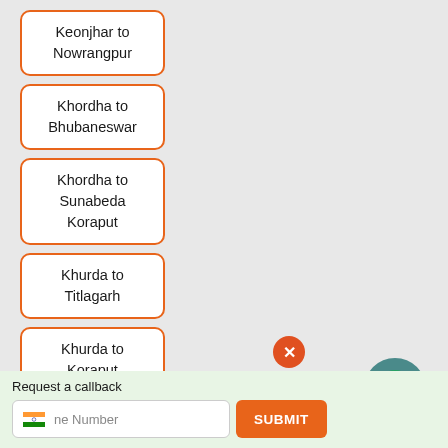Keonjhar to Nowrangpur
Khordha to Bhubaneswar
Khordha to Sunabeda Koraput
Khurda to Titlagarh
Khurda to Koraput
Khurda to (partial)
Request a callback
Phone Number | SUBMIT